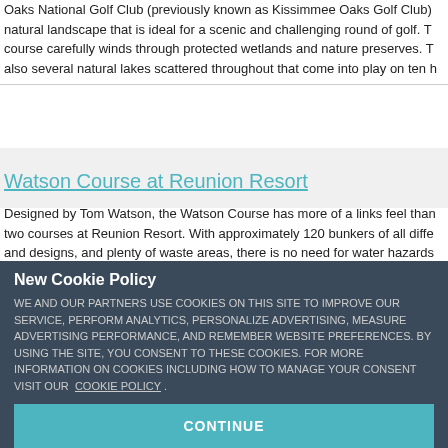Oaks National Golf Club (previously known as Kissimmee Oaks Golf Club) natural landscape that is ideal for a scenic and challenging round of golf. The course carefully winds through protected wetlands and nature preserves. There are also several natural lakes scattered throughout that come into play on ten h
Watson Course at Reunion Resort
Designed by Tom Watson, the Watson Course has more of a links feel than the two courses at Reunion Resort. With approximately 120 bunkers of all different and designs, and plenty of waste areas, there is no need for water hazards undulating layout.
New Cookie Policy
WE AND OUR PARTNERS USE COOKIES ON THIS SITE TO IMPROVE OUR SERVICE, PERFORM ANALYTICS, PERSONALIZE ADVERTISING, MEASURE ADVERTISING PERFORMANCE, AND REMEMBER WEBSITE PREFERENCES. BY USING THE SITE, YOU CONSENT TO THESE COOKIES. FOR MORE INFORMATION ON COOKIES INCLUDING HOW TO MANAGE YOUR CONSENT VISIT OUR COOKIE POLICY .
CONTINUE